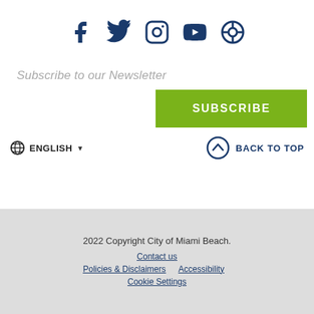[Figure (illustration): Row of 5 dark blue social media icons: Facebook, Twitter, Instagram, YouTube, and a circular icon (Nextdoor/other)]
Subscribe to our Newsletter
SUBSCRIBE
ENGLISH
BACK TO TOP
2022 Copyright City of Miami Beach.
Contact us
Policies & Disclaimers
Accessibility
Cookie Settings